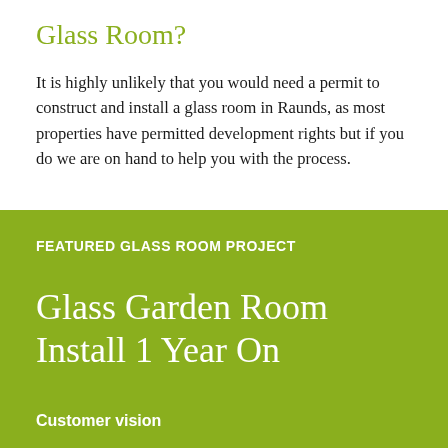Glass Room?
It is highly unlikely that you would need a permit to construct and install a glass room in Raunds, as most properties have permitted development rights but if you do we are on hand to help you with the process.
FEATURED GLASS ROOM PROJECT
Glass Garden Room Install 1 Year On
Customer vision